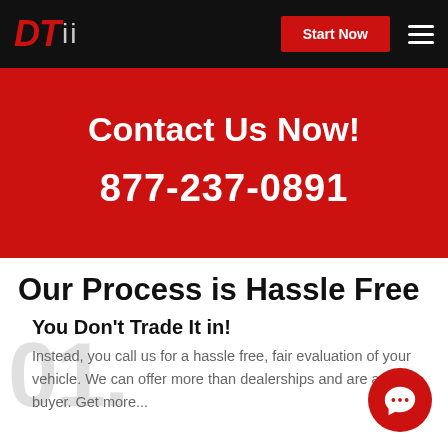DTii | Start Now
Contact Us Now!
877-237-0891
Our Process is Hassle Free
You Don't Trade It in!
Instead, you call us for a hassle free, fair evaluation of your vehicle. We can offer more than dealerships and are a cash buyer. Get more...